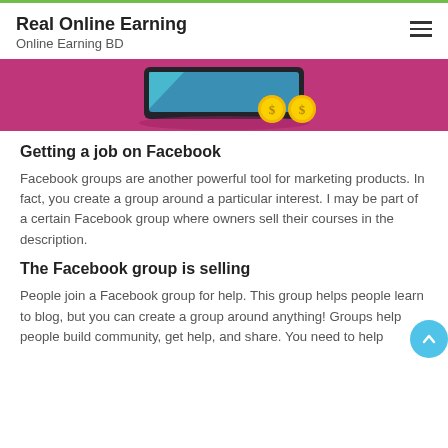Real Online Earning
Online Earning BD
[Figure (illustration): Partial illustration showing a dark device/tablet with gold coins on a pink/magenta background]
Getting a job on Facebook
Facebook groups are another powerful tool for marketing products. In fact, you create a group around a particular interest. I may be part of a certain Facebook group where owners sell their courses in the description.
The Facebook group is selling
People join a Facebook group for help. This group helps people learn to blog, but you can create a group around anything! Groups help people build community, get help, and share. You need to help